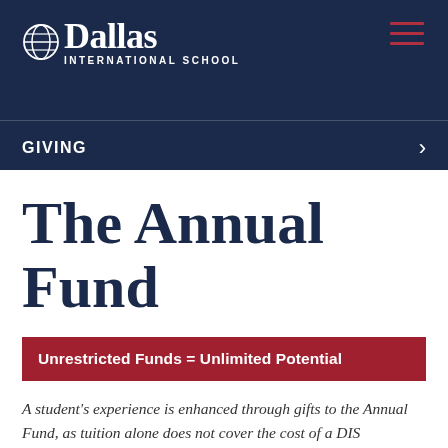Dallas International School — GIVING
The Annual Fund
Unrestricted Funds = Unlimited Potential
A student's experience is enhanced through gifts to the Annual Fund, as tuition alone does not cover the cost of a DIS education.